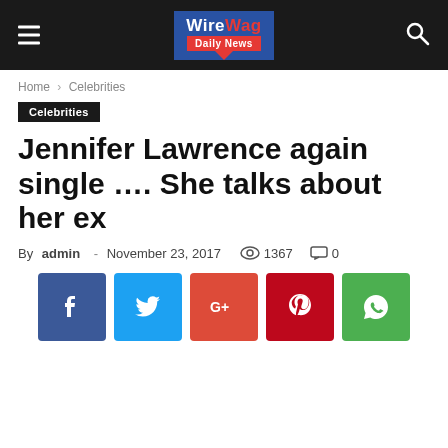WireWag Daily News
Home › Celebrities
Celebrities
Jennifer Lawrence again single …. She talks about her ex
By admin - November 23, 2017  1367  0
[Figure (infographic): Social sharing buttons: Facebook, Twitter, Google+, Pinterest, WhatsApp]